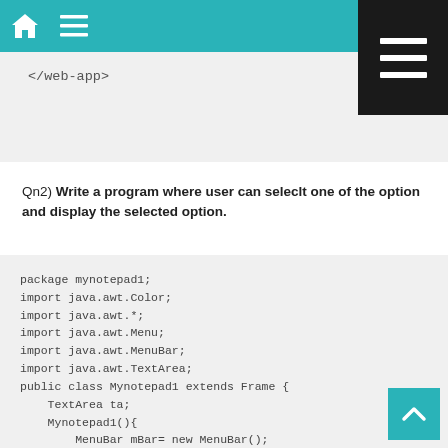Navigation bar with home and menu icons
</web-app>
Qn2) Write a program where user can seleclt one of the option and display the selected option.
package mynotepad1;
import java.awt.Color;
import java.awt.*;
import java.awt.Menu;
import java.awt.MenuBar;
import java.awt.TextArea;
public class Mynotepad1 extends Frame {
    TextArea ta;
    Mynotepad1(){
        MenuBar mBar= new MenuBar();
        setMenuBar(mBar);